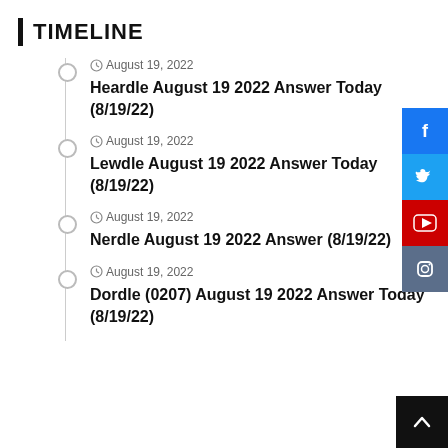TIMELINE
August 19, 2022
Heardle August 19 2022 Answer Today (8/19/22)
August 19, 2022
Lewdle August 19 2022 Answer Today (8/19/22)
August 19, 2022
Nerdle August 19 2022 Answer (8/19/22)
August 19, 2022
Dordle (0207) August 19 2022 Answer Today (8/19/22)